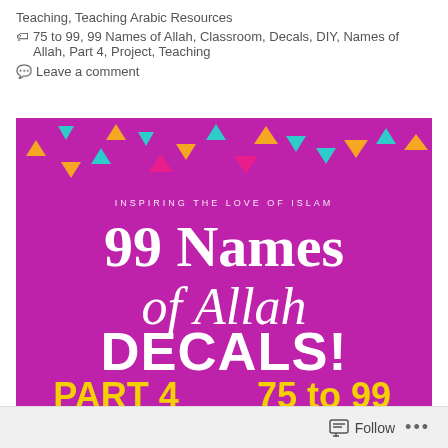Teaching, Teaching Arabic Resources
75 to 99, 99 Names of Allah, Classroom, Decals, DIY, Names of Allah, Part 4, Project, Teaching
Leave a comment
[Figure (illustration): Purple background promotional image for '99 Names of Allah DECALS! PART 4, 75 to 99' with colorful triangle confetti decorations at the top and white/yellow text. Subtitle reads 'INSPIRING THE LOVE OF ISLAM'.]
Follow ...